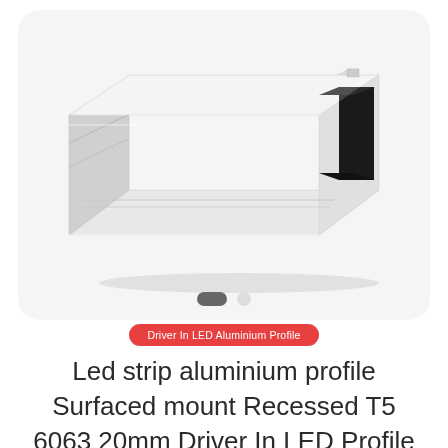[Figure (photo): LED aluminium profile channel product photo — a long rectangular silver/white anodized aluminium extrusion with a recessed channel opening on the front face, shown in perspective view from the right end revealing a dark interior channel. The profile appears to be a surface-mount or recessed LED strip housing, shown against a light grey rounded-rectangle card background with two pagination dots below.]
Driver In LED Aluminium Profile
Led strip aluminium profile Surfaced mount Recessed T5 6063 20mm Driver In LED Profile